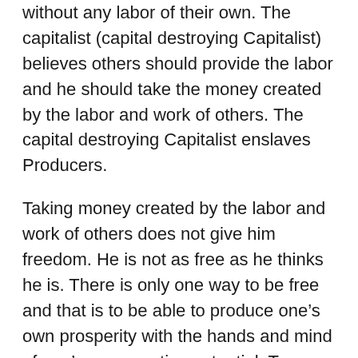without any labor of their own. The capitalist (capital destroying Capitalist) believes others should provide the labor and he should take the money created by the labor and work of others. The capital destroying Capitalist enslaves Producers.
Taking money created by the labor and work of others does not give him freedom. He is not as free as he thinks he is. There is only one way to be free and that is to be able to produce one's own prosperity with the hands and mind of one's own creative potential. True freedom is to be able to create energy and transfer it into commodities, trades, goods and services which one can use to exchange for other commodities, trades, goods and services with money on the Open Market.